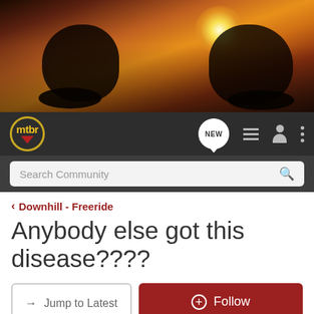[Figure (photo): Hero banner showing two mountain bikers riding downhill at sunset with orange/golden sky and dust]
[Figure (logo): mtbr logo - yellow text on dark circle with red shield/arrow emblem]
Search Community
< Downhill - Freeride
Anybody else got this disease????
→ Jump to Latest
+ Follow
REVIEWS  DEALS  BIKESHOPS  TRAILS